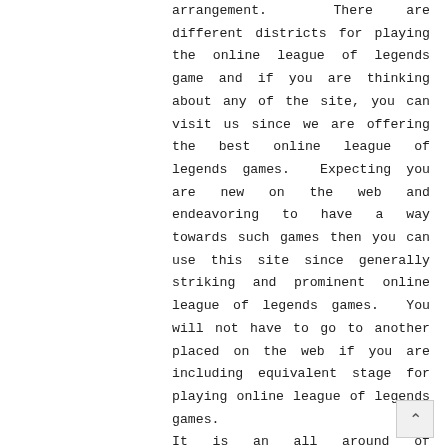arrangement. There are different districts for playing the online league of legends game and if you are thinking about any of the site, you can visit us since we are offering the best online league of legends games. Expecting you are new on the web and endeavoring to have a way towards such games then you can use this site since generally striking and prominent online league of legends games. You will not have to go to another placed on the web if you are including equivalent stage for playing online league of legends games.
It is an all around of sensational euphoria that you can get a smaller gander at this site since it is online and you will not have to buy much else. You can without a genuinely astounding stretch use it for playing online lol game. Expecting you will play any of the online league of legends games, you can recollect a general mark of union for you for light of the way that with the help of web, you can play these games on the web.